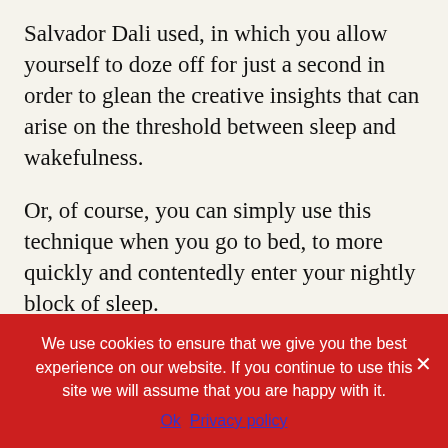Salvador Dali used, in which you allow yourself to doze off for just a second in order to glean the creative insights that can arise on the threshold between sleep and wakefulness.
Or, of course, you can simply use this technique when you go to bed, to more quickly and contentedly enter your nightly block of sleep.
Keep in mind that being able to relax physically and mentally, and thus being able to fall asleep at the drop of a hat, is a skill, and like all skills, you shouldn't expect to get the hang of it and have it work the first few times you try. You have to practice over and over again, until you get
We use cookies to ensure that we give you the best experience on our website. If you continue to use this site we will assume that you are happy with it.
Ok   Privacy policy